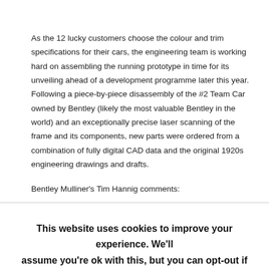As the 12 lucky customers choose the colour and trim specifications for their cars, the engineering team is working hard on assembling the running prototype in time for its unveiling ahead of a development programme later this year. Following a piece-by-piece disassembly of the #2 Team Car owned by Bentley (likely the most valuable Bentley in the world) and an exceptionally precise laser scanning of the frame and its components, new parts were ordered from a combination of fully digital CAD data and the original 1920s engineering drawings and drafts.
Bentley Mulliner's Tim Hannig comments:
This website uses cookies to improve your experience. We'll assume you're ok with this, but you can opt-out if you wish.
Cookie settings
ACCEPT